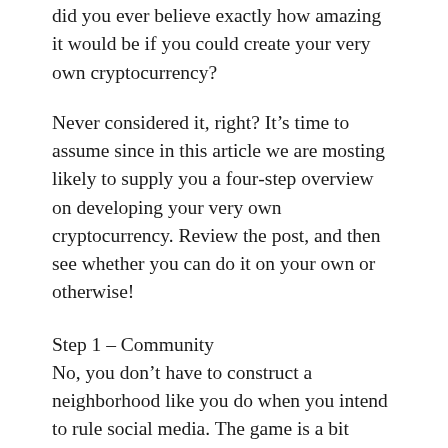did you ever believe exactly how amazing it would be if you could create your very own cryptocurrency?
Never considered it, right? It’s time to assume since in this article we are mosting likely to supply you a four-step overview on developing your very own cryptocurrency. Review the post, and then see whether you can do it on your own or otherwise!
Step 1 – Community
No, you don’t have to construct a neighborhood like you do when you intend to rule social media. The game is a bit different below. You need to find an area of people that